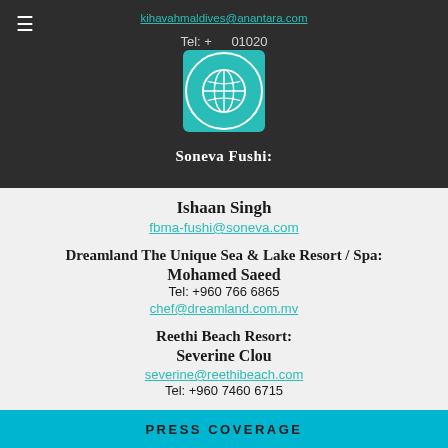kihavahmaldives@anantara.com
Tel: +... 01020
[Figure (logo): Circular logo with teal background and white globe/leaf design]
Soneva Fushi:
Ishaan Singh
fbma-fushi@soneva.com
Dreamland The Unique Sea & Lake Resort / Spa:
Mohamed Saeed
Tel: +960 766 6865
chef@dreamland.com.mv
Reethi Beach Resort:
Severine Clou
severine@reethibeach.com
Tel: +960 7460 6715
PRESS COVERAGE